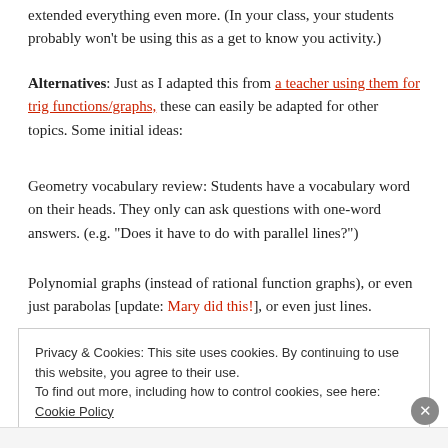extended everything even more. (In your class, your students probably won't be using this as a get to know you activity.)
Alternatives: Just as I adapted this from a teacher using them for trig functions/graphs, these can easily be adapted for other topics. Some initial ideas:
Geometry vocabulary review: Students have a vocabulary word on their heads. They only can ask questions with one-word answers. (e.g. “Does it have to do with parallel lines?”)
Polynomial graphs (instead of rational function graphs), or even just parabolas [update: Mary did this!], or even just lines.
Privacy & Cookies: This site uses cookies. By continuing to use this website, you agree to their use.
To find out more, including how to control cookies, see here: Cookie Policy